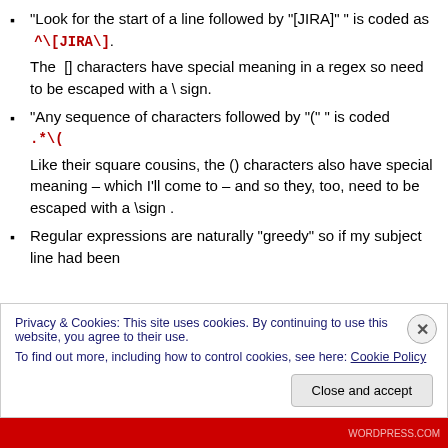“Look for the start of a line followed by “[JIRA]” ” is coded as ^\[JIRA\]. The [] characters have special meaning in a regex so need to be escaped with a \ sign.
“Any sequence of characters followed by “(” ” is coded .*\(. Like their square cousins, the () characters also have special meaning – which I’ll come to – and so they, too, need to be escaped with a \sign .
Regular expressions are naturally “greedy” so if my subject line had been
Privacy & Cookies: This site uses cookies. By continuing to use this website, you agree to their use. To find out more, including how to control cookies, see here: Cookie Policy